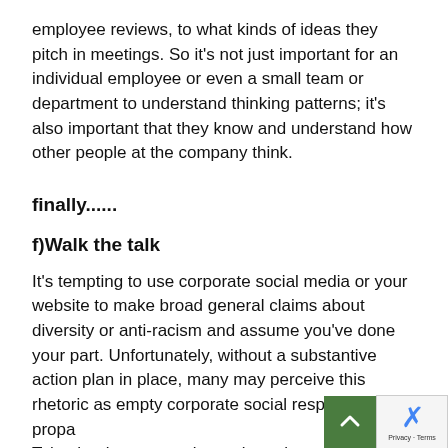employee reviews, to what kinds of ideas they pitch in meetings. So it's not just important for an individual employee or even a small team or department to understand thinking patterns; it's also important that they know and understand how other people at the company think.
finally......
f)Walk the talk
It's tempting to use corporate social media or your website to make broad general claims about diversity or anti-racism and assume you've done your part. Unfortunately, without a substantive action plan in place, many may perceive this rhetoric as empty corporate social responsibility propa… Take the time now to invest in real transformational ch… let your audience know that you are willing to walk the t…